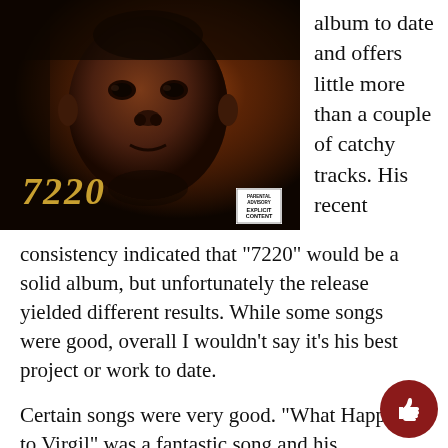[Figure (photo): Album cover for '7220' showing a young child's face in dark tones with the title '7220' in gold cursive at the bottom left and an explicit content advisory label at the bottom right.]
album to date and offers little more than a couple of catchy tracks. His recent consistency indicated that ‘7220’ would be a solid album, but unfortunately the release yielded different results. While some songs were good, overall I wouldn't say it's his best project or work to date.
Certain songs were very good. “What Happened to Virgil” was a fantastic song and his experimental song “Broadway Girls” with Morgan Wallen was pretty good. Even though standout tracks were good, oth...